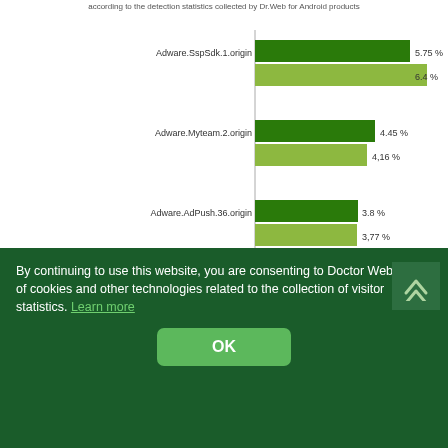according to the detection statistics collected by Dr.Web for Android products
[Figure (grouped-bar-chart): Detection statistics Dr.Web for Android]
[Figure (logo): Dr.WEB logo with www.drweb.com]
Program modules incorporated into Android applications. These are designed to display ads on Android devices. Depending...
By continuing to use this website, you are consenting to Doctor Web's use of cookies and other technologies related to the collection of visitor statistics. Learn more